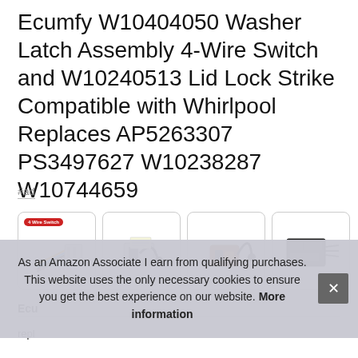Ecumfy W10404050 Washer Latch Assembly 4-Wire Switch and W10240513 Lid Lock Strike Compatible with Whirlpool Replaces AP5263307 PS3497627 W10238287 W10744659
#ad
[Figure (photo): Four product images showing washer latch assembly parts: first image with red '4-Wire Switch' tag showing colored wire connector, second showing latch mechanism with black cord, third showing brown/orange latch assembly, fourth showing black rectangular component with wires]
Ecu
repl
As an Amazon Associate I earn from qualifying purchases. This website uses the only necessary cookies to ensure you get the best experience on our website. More information